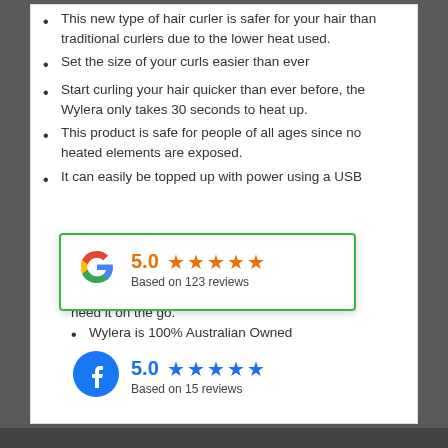This new type of hair curler is safer for your hair than traditional curlers due to the lower heat used.
Set the size of your curls easier than ever
Start curling your hair quicker than ever before, the Wylera only takes 30 seconds to heat up.
This product is safe for people of all ages since no heated elements are exposed.
It can easily be topped up with power using a USB
[Figure (infographic): Google review widget showing 5.0 stars based on 123 reviews with Google logo]
h the USB charger and a
need it on the go.
Wylera is 100% Australian Owned
er warranty.
[Figure (infographic): Facebook review widget showing 5.0 stars based on 15 reviews with Facebook logo]
nytime!